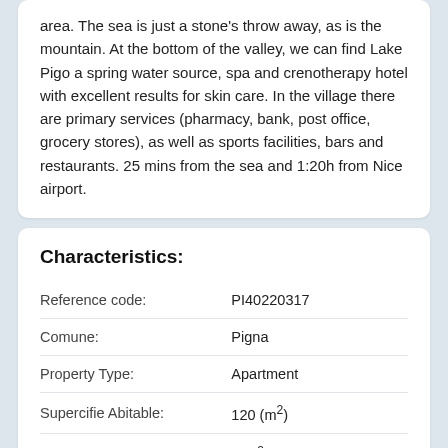area. The sea is just a stone's throw away, as is the mountain. At the bottom of the valley, we can find Lake Pigo a spring water source, spa and crenotherapy hotel with excellent results for skin care. In the village there are primary services (pharmacy, bank, post office, grocery stores), as well as sports facilities, bars and restaurants. 25 mins from the sea and 1:20h from Nice airport.
Characteristics:
|  |  |
| --- | --- |
| Reference code: | PI40220317 |
| Comune: | Pigna |
| Property Type: | Apartment |
| Supercifie Abitable: | 120 (m²) |
| Land size: | - (m²) |
| Condition: | Habitable |
| Energy class: | G |